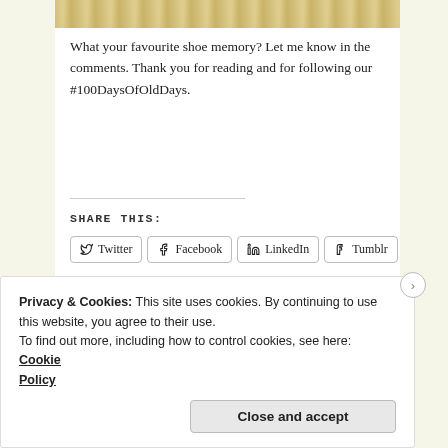[Figure (photo): Partial view of a light-colored fur or shoe material image at top]
What your favourite shoe memory? Let me know in the comments. Thank you for reading and for following our #100DaysOfOldDays.
SHARE THIS:
Loading...
Privacy & Cookies: This site uses cookies. By continuing to use this website, you agree to their use.
To find out more, including how to control cookies, see here: Cookie Policy